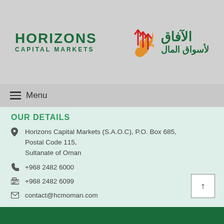[Figure (logo): Horizons Capital Markets logo with Arabic text and flame/arrow graphic]
☰ Menu
OUR DETAILS
Horizons Capital Markets (S.A.O.C), P.O. Box 685, Postal Code 115, Sultanate of Oman
+968 2482 6000
+968 2482 6099
contact@hcmoman.com